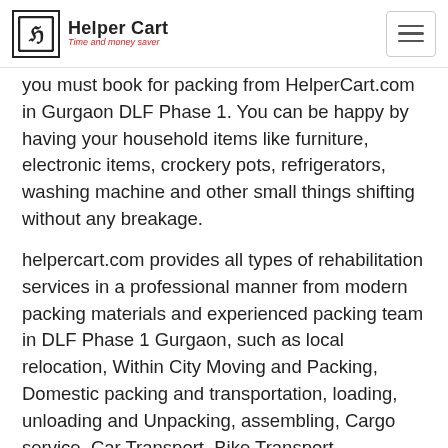Helper Cart — Time and money saver
you must book for packing from HelperCart.com in Gurgaon DLF Phase 1. You can be happy by having your household items like furniture, electronic items, crockery pots, refrigerators, washing machine and other small things shifting without any breakage.
helpercart.com provides all types of rehabilitation services in a professional manner from modern packing materials and experienced packing team in DLF Phase 1 Gurgaon, such as local relocation, Within City Moving and Packing, Domestic packing and transportation, loading, unloading and Unpacking, assembling, Cargo service, Car Transport, Bike Transport, Warehouse, Custom Clearance. If you make a shifting booking from helpercart.com, you can be